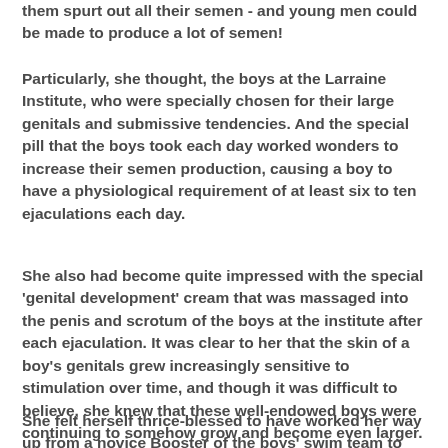them spurt out all their semen - and young men could be made to produce a lot of semen!
Particularly, she thought, the boys at the Larraine Institute, who were specially chosen for their large genitals and submissive tendencies. And the special pill that the boys took each day worked wonders to increase their semen production, causing a boy to have a physiological requirement of at least six to ten ejaculations each day.
She also had become quite impressed with the special 'genital development' cream that was massaged into the penis and scrotum of the boys at the institute after each ejaculation. It was clear to her that the skin of a boy's genitals grew increasingly sensitive to stimulation over time, and though it was difficult to believe, she knew that these well-endowed boys were continuing to somehow grow and become even larger.
She felt herself thrice-blessed to have worked her way up from a novice Booster of the boys' swim team to the